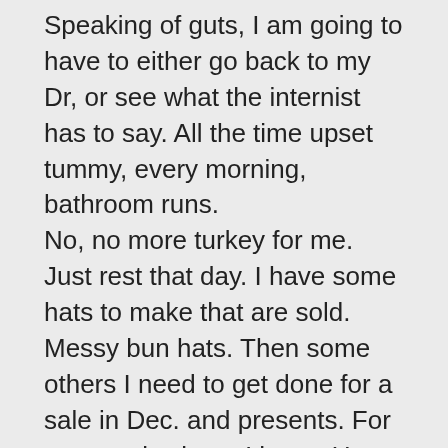Speaking of guts, I am going to have to either go back to my Dr, or see what the internist has to say. All the time upset tummy, every morning, bathroom runs.
No, no more turkey for me. Just rest that day. I have some hats to make that are sold. Messy bun hats. Then some others I need to get done for a sale in Dec. and presents. For now, early sleep, I hope. Up at 5:30 this am.
You take it easy, and let that tater peeler help chop the veggies. Enjoy your family, tell all hello for me.
Love ya